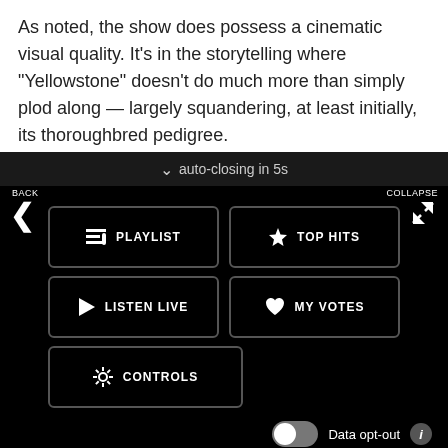As noted, the show does possess a cinematic visual quality. It's in the storytelling where "Yellowstone" doesn't do much more than simply plod along — largely squandering, at least initially, its thoroughbred pedigree.
auto-closing in 5s
[Figure (screenshot): Navigation menu overlay with buttons: PLAYLIST, TOP HITS, LISTEN LIVE, MY VOTES, CONTROLS. Also includes Data opt-out toggle, an advertisement for Gracious Retirement Living, and a now-playing bar showing 'Give Me Everything (feat. Afroj...' by Pitbull.]